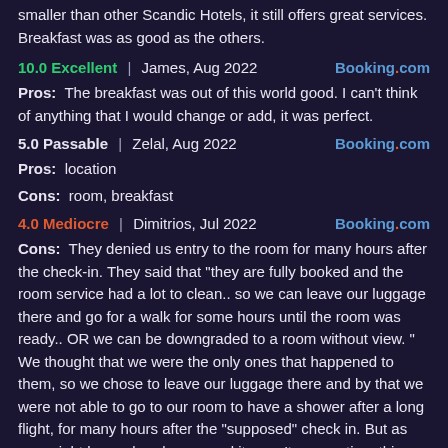smaller than other Scandic Hotels, it still offers great services. Breakfast was as good as the others.
10.0 Excellent | James, Aug 2022   Booking.com
Pros: The breakfast was out of this world good. I can't think of anything that I would change or add, it was perfect.
5.0 Passable | Zelal, Aug 2022   Booking.com
Pros: location
Cons: room, breakfast
4.0 Mediocre | Dimitrios, Jul 2022   Booking.com
Cons: They denied us entry to the room for many hours after the check-in. They said that "they are fully booked and the room service had a lot to clean.. so we can leave our luggage there and go for a walk for some hours until the room was ready.. OR we can be downgraded to a room without view. " We thought that we were the only ones that happened to them, so we chose to leave our luggage there and by that we were not able to go to our room to have a shower after a long flight, for many hours after the "supposed" check in. But as you might have already guessed it wasn't an one time thing. As we saw later they did that to a lot of other guests. And as we saw the next days... they did it